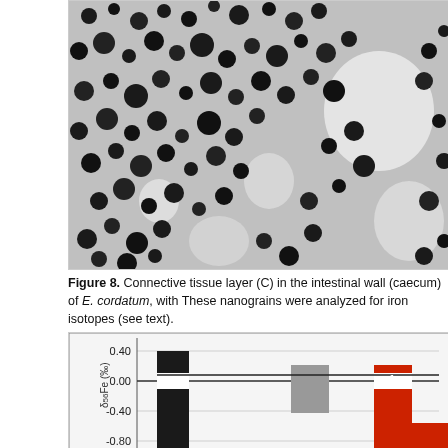[Figure (photo): Microscopy image showing connective tissue with black nanograins on a grayscale background, showing cells and tissue structure.]
Figure 8. Connective tissue layer (C) in the intestinal wall (caecum) of E. cordatum, with These nanograins were analyzed for iron isotopes (see text).
[Figure (bar-chart): Partial bar chart showing iron isotope values (δ56Fe in ‰) with black and red/gray bars, y-axis from approximately -0.80 to 0.40.]